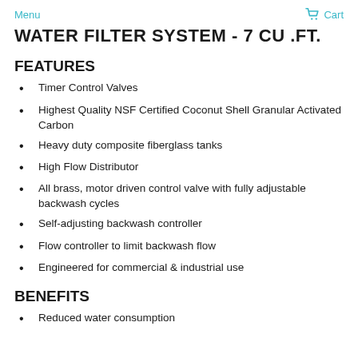Menu   Cart
WATER FILTER SYSTEM - 7 CU .FT.
FEATURES
Timer Control Valves
Highest Quality NSF Certified Coconut Shell Granular Activated Carbon
Heavy duty composite fiberglass tanks
High Flow Distributor
All brass, motor driven control valve with fully adjustable backwash cycles
Self-adjusting backwash controller
Flow controller to limit backwash flow
Engineered for commercial & industrial use
BENEFITS
Reduced water consumption